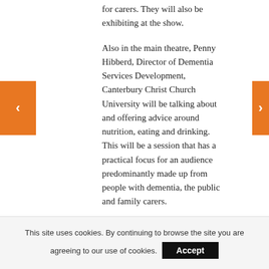for carers. They will also be exhibiting at the show.
Also in the main theatre, Penny Hibberd, Director of Dementia Services Development, Canterbury Christ Church University will be talking about and offering advice around nutrition, eating and drinking. This will be a session that has a practical focus for an audience predominantly made up from people with dementia, the public and family carers.
In addition to these speakers the 'Alzheimer's Matters' theatre will host a
This site uses cookies. By continuing to browse the site you are agreeing to our use of cookies.